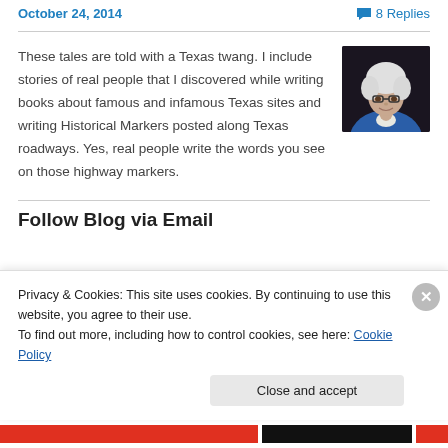October 24, 2014    8 Replies
These tales are told with a Texas twang. I include stories of real people that I discovered while writing books about famous and infamous Texas sites and writing Historical Markers posted along Texas roadways. Yes, real people write the words you see on those highway markers.
[Figure (photo): Portrait photo of an older woman with white hair and glasses, wearing a blue jacket, against a dark background.]
Follow Blog via Email
Privacy & Cookies: This site uses cookies. By continuing to use this website, you agree to their use.
To find out more, including how to control cookies, see here: Cookie Policy